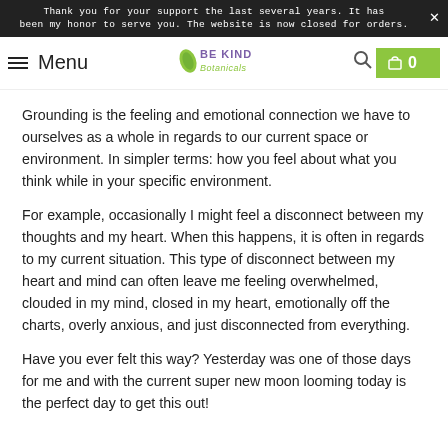Thank you for your support the last several years. It has been my honor to serve you. The website is now closed for orders.
Menu | Be Kind Botanicals | Search | Cart 0
Grounding is the feeling and emotional connection we have to ourselves as a whole in regards to our current space or environment. In simpler terms: how you feel about what you think while in your specific environment.
For example, occasionally I might feel a disconnect between my thoughts and my heart. When this happens, it is often in regards to my current situation. This type of disconnect between my heart and mind can often leave me feeling overwhelmed, clouded in my mind, closed in my heart, emotionally off the charts, overly anxious, and just disconnected from everything.
Have you ever felt this way? Yesterday was one of those days for me and with the current super new moon looming today is the perfect day to get this out!